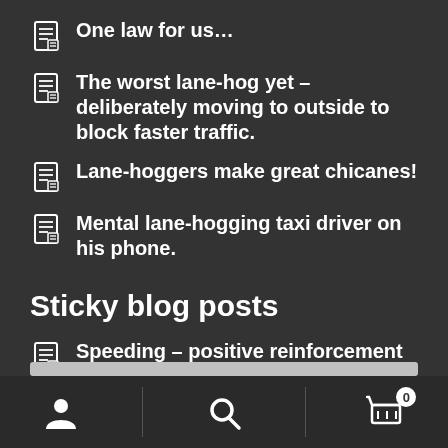One law for us…
The worst lane-hog yet – deliberately moving to outside to block faster traffic.
Lane-hoggers make great chicanes!
Mental lane-hogging taxi driver on his phone.
Sticky blog posts
Speeding – positive reinforcement instead of punishment?